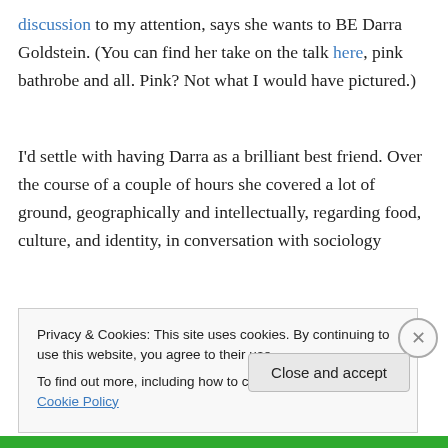discussion to my attention, says she wants to BE Darra Goldstein. (You can find her take on the talk here, pink bathrobe and all. Pink? Not what I would have pictured.)
I'd settle with having Darra as a brilliant best friend. Over the course of a couple of hours she covered a lot of ground, geographically and intellectually, regarding food, culture, and identity, in conversation with sociology
Privacy & Cookies: This site uses cookies. By continuing to use this website, you agree to their use.
To find out more, including how to control cookies, see here: Cookie Policy
Close and accept